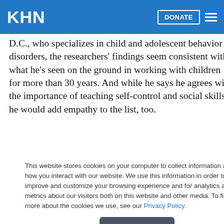KHN | DONATE
D.C., who specializes in child and adolescent behavior disorders, the researchers' findings seem consistent with what he's seen on the ground in working with children for more than 30 years. And while he says he agrees with the importance of teaching self-control and social skills, he would add empathy to the list, too.
This website stores cookies on your computer to collect information about how you interact with our website. We use this information in order to improve and customize your browsing experience and for analytics and metrics about our visitors both on this website and other media. To find out more about the cookies we use, see our Privacy Policy.
Accept